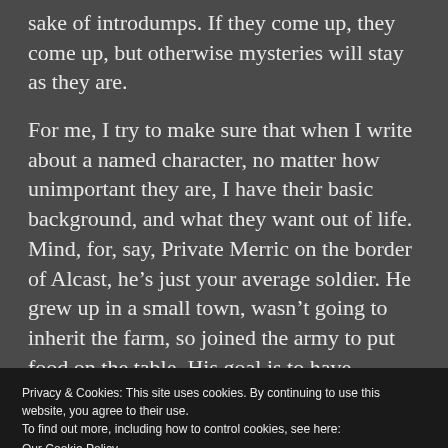sake of introdumps. If they come up, they come up, but otherwise mysteries will stay as they are.
For me, I try to make sure that when I write about a named character, no matter how unimportant they are, I have their basic background, and what they want out of life. Mind, for, say, Private Merric on the border of Alcast, he’s just your average soldier. He grew up in a small town, wasn’t going to inherit the farm, so joined the army to put food on the table. His goal is to have enough money eventually to own a tavern. That’s pretty much everything I
Privacy & Cookies: This site uses cookies. By continuing to use this website, you agree to their use.
To find out more, including how to control cookies, see here:
Our Cookie Policy
Close and accept
Also, Pr...